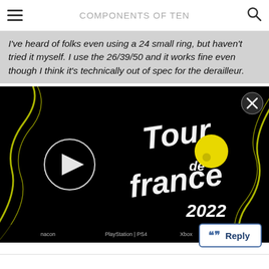COMPONENTS OF TEN
I've heard of folks even using a 24 small ring, but haven't tried it myself. I use the 26/39/50 and it works fine even though I think it's technically out of spec for the derailleur.
[Figure (screenshot): Tour de France 2022 video game promotional thumbnail with play button, yellow ball logo, and game title on dark background with neon yellow swirl lines]
Reply